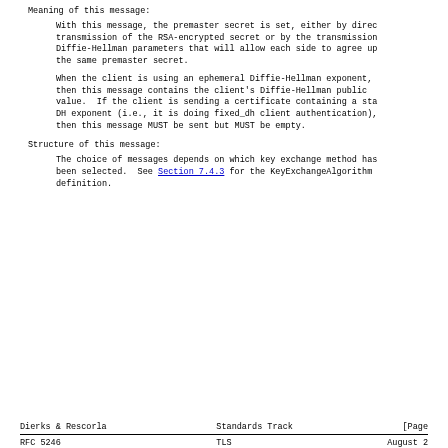Meaning of this message:
With this message, the premaster secret is set, either by direct transmission of the RSA-encrypted secret or by the transmission of Diffie-Hellman parameters that will allow each side to agree upon the same premaster secret.
When the client is using an ephemeral Diffie-Hellman exponent, then this message contains the client's Diffie-Hellman public value.  If the client is sending a certificate containing a static DH exponent (i.e., it is doing fixed_dh client authentication), then this message MUST be sent but MUST be empty.
Structure of this message:
The choice of messages depends on which key exchange method has been selected.  See Section 7.4.3 for the KeyExchangeAlgorithm definition.
Dierks & Rescorla                Standards Track                [Page
RFC 5246                          TLS                        August 2